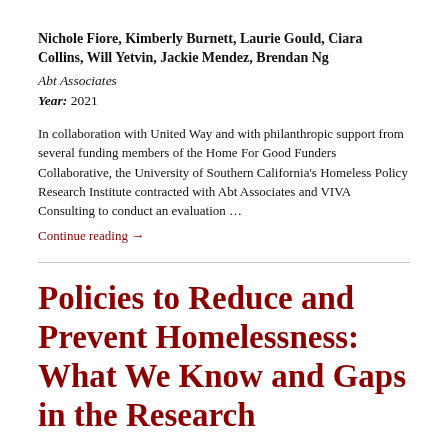Nichole Fiore, Kimberly Burnett, Laurie Gould, Ciara Collins, Will Yetvin, Jackie Mendez, Brendan Ng
Abt Associates
Year: 2021
In collaboration with United Way and with philanthropic support from several funding members of the Home For Good Funders Collaborative, the University of Southern California's Homeless Policy Research Institute contracted with Abt Associates and VIVA Consulting to conduct an evaluation …
Continue reading →
Policies to Reduce and Prevent Homelessness: What We Know and Gaps in the Research